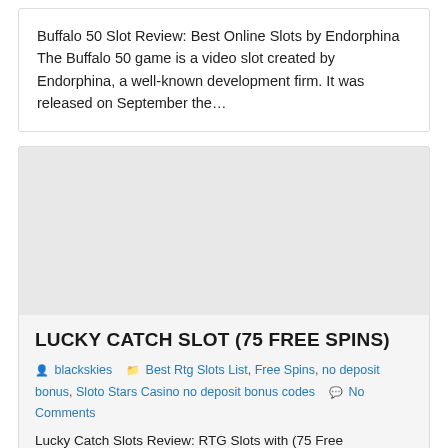Buffalo 50 Slot Review: Best Online Slots by Endorphina The Buffalo 50 game is a video slot created by Endorphina, a well-known development firm. It was released on September the…
[Figure (other): Gray placeholder image area for Lucky Catch Slot article thumbnail]
LUCKY CATCH SLOT (75 FREE SPINS)
blackskies   Best Rtg Slots List, Free Spins, no deposit bonus, Sloto Stars Casino no deposit bonus codes   No Comments
Lucky Catch Slots Review: RTG Slots with (75 Free...